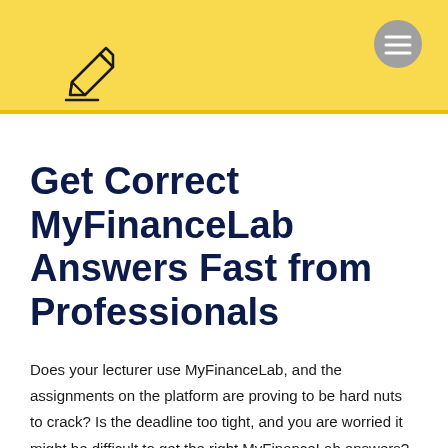Get Correct MyFinanceLab Answers Fast from Professionals
Does your lecturer use MyFinanceLab, and the assignments on the platform are proving to be hard nuts to crack? Is the deadline too tight, and you are worried it might be difficult to get the right MyFinanceLab answers? Well, a lot of students find themselves in a similar situation with their foundations of financial management or corporate finance, among other areas, but we have a way out: using expert writing help.